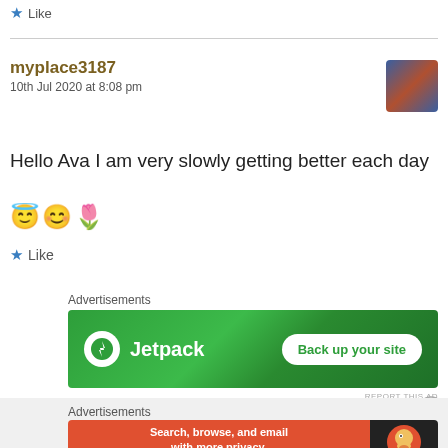Like
myplace3187
10th Jul 2020 at 8:08 pm
Hello Ava I am very slowly getting better each day 😇😊🌷
Like
Advertisements
[Figure (screenshot): Jetpack advertisement banner with green background showing Jetpack logo and 'Back up your site' button]
REPORT THIS AD
Advertisements
[Figure (screenshot): DuckDuckGo advertisement showing 'Search, browse, and email with more privacy. All in One Free App' with DuckDuckGo logo]